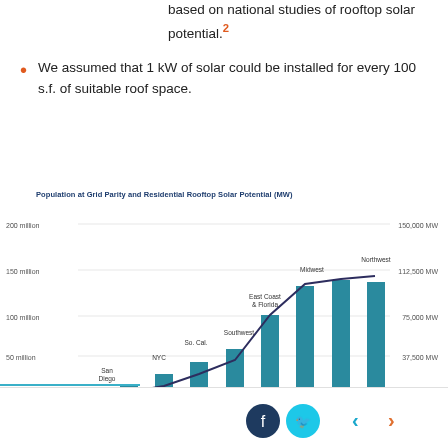based on national studies of rooftop solar potential.²
We assumed that 1 kW of solar could be installed for every 100 s.f. of suitable roof space.
Population at Grid Parity and Residential Rooftop Solar Potential (MW)
[Figure (bar-chart): Population at Grid Parity and Residential Rooftop Solar Potential (MW)]